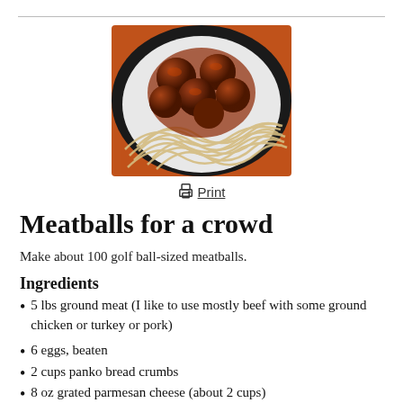[Figure (photo): A bowl of spaghetti topped with several large meatballs in tomato sauce, viewed from above.]
🖨 Print
Meatballs for a crowd
Make about 100 golf ball-sized meatballs.
Ingredients
5 lbs ground meat (I like to use mostly beef with some ground chicken or turkey or pork)
6 eggs, beaten
2 cups panko bread crumbs
8 oz grated parmesan cheese (about 2 cups)